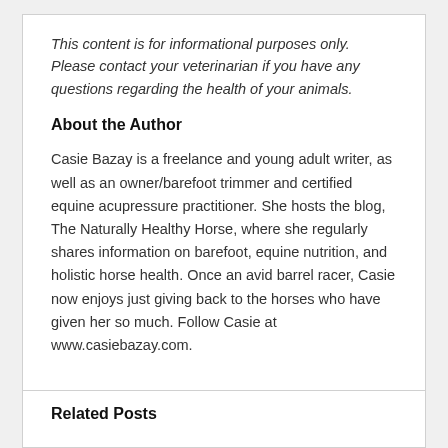This content is for informational purposes only. Please contact your veterinarian if you have any questions regarding the health of your animals.
About the Author
Casie Bazay is a freelance and young adult writer, as well as an owner/barefoot trimmer and certified equine acupressure practitioner. She hosts the blog, The Naturally Healthy Horse, where she regularly shares information on barefoot, equine nutrition, and holistic horse health. Once an avid barrel racer, Casie now enjoys just giving back to the horses who have given her so much. Follow Casie at www.casiebazay.com.
Related Posts